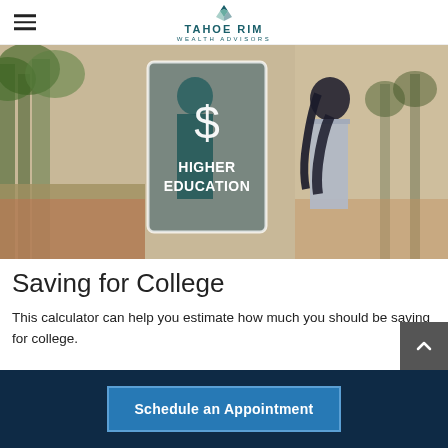Tahoe Rim Wealth Advisors
[Figure (photo): A person holding a tablet on a campus walkway with trees. The tablet displays a dollar sign icon and the text 'HIGHER EDUCATION' on a dark teal overlay card with a white border.]
Saving for College
This calculator can help you estimate how much you should be saving for college.
Schedule an Appointment